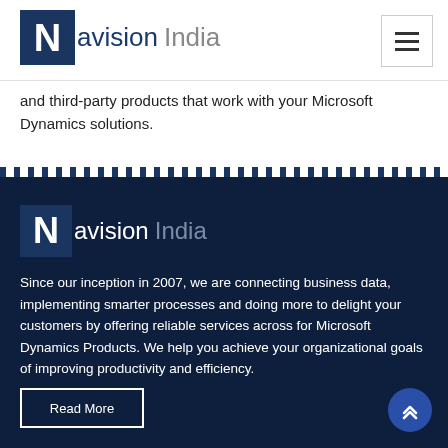Navision India
and third-party products that work with your Microsoft Dynamics solutions.
[Figure (logo): Navision India logo with dark blue N box and text in footer area]
Since our inception in 2007, we are connecting business data, implementing smarter processes and doing more to delight your customers by offering reliable services across for Microsoft Dynamics Products. We help you achieve your organizational goals of improving productivity and efficiency.
Read More